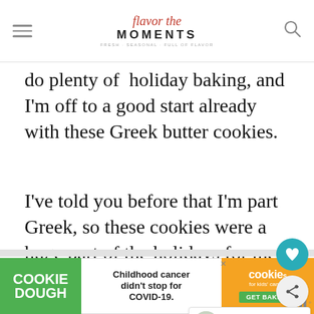Flavor the Moments — FRESH, SEASONAL, FULL OF FLAVOR
do plenty of holiday baking, and I'm off to a good start already with these Greek butter cookies.
I've told you before that I'm part Greek, so these cookies were a huge part of the holidays for me growing up.  Greek butter cookies, or kourabiedes, are very traditional for Christmas Greek Easter, and baptisms, and are normally baked with a whole clove inside.
[Figure (other): "What's Next" widget showing a thumbnail image and text 'Key Lime Cooler...']
WHAT'S NEXT → Key Lime Cooler...
[Figure (other): Advertisement banner: COOKIE DOUGH — Childhood cancer didn't stop for COVID-19. — cookies for kids' cancer GET BAKING]